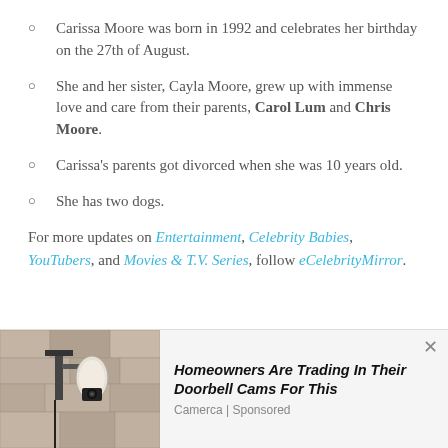Carissa Moore was born in 1992 and celebrates her birthday on the 27th of August.
She and her sister, Cayla Moore, grew up with immense love and care from their parents, Carol Lum and Chris Moore.
Carissa's parents got divorced when she was 10 years old.
She has two dogs.
For more updates on Entertainment, Celebrity Babies, YouTubers, and Movies & T.V. Series, follow eCelebrityMirror.
[Figure (photo): Advertisement photo showing an outdoor wall-mounted light fixture with a security camera, used for a smart doorbell camera ad. Headline: Homeowners Are Trading In Their Doorbell Cams For This. Source: Camerca | Sponsored]